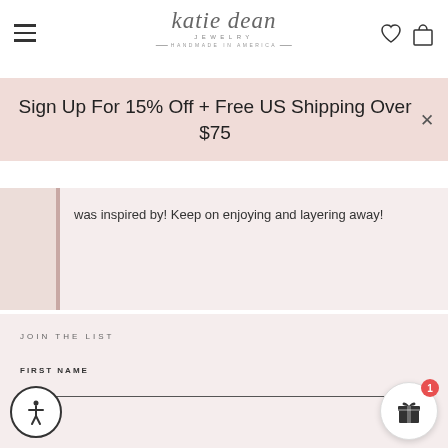[Figure (logo): Katie Dean Jewelry logo — handwritten script with 'JEWELRY' and 'HANDMADE IN AMERICA' below]
Sign Up For 15% Off + Free US Shipping Over $75
was inspired by! Keep on enjoying and layering away!
JOIN THE LIST
FIRST NAME
MAIL